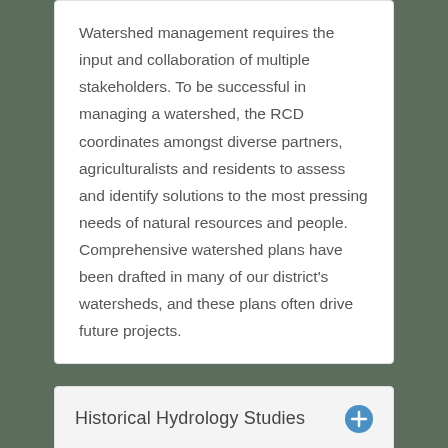Watershed management requires the input and collaboration of multiple stakeholders. To be successful in managing a watershed, the RCD coordinates amongst diverse partners, agriculturalists and residents to assess and identify solutions to the most pressing needs of natural resources and people. Comprehensive watershed plans have been drafted in many of our district's watersheds, and these plans often drive future projects.
Historical Hydrology Studies
Streamflow Studies